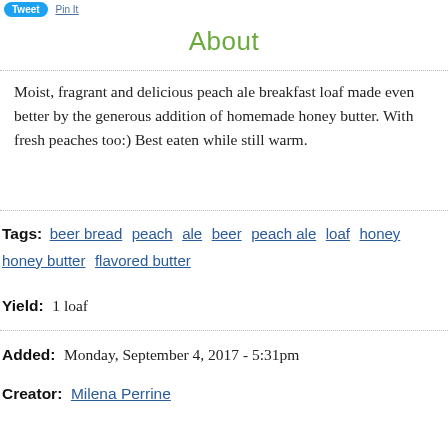Tweet  Pin It
About
Moist, fragrant and delicious peach ale breakfast loaf made even better by the generous addition of homemade honey butter. With fresh peaches too:) Best eaten while still warm.
Tags:  beer bread  peach  ale  beer  peach ale  loaf  honey  honey butter  flavored butter
Yield:  1 loaf
Added:  Monday, September 4, 2017 - 5:31pm
Creator:  Milena Perrine